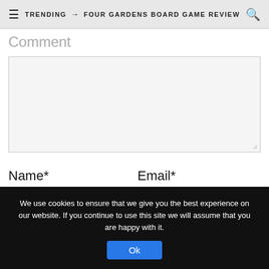TRENDING → FOUR GARDENS BOARD GAME REVIEW
Comment
[Comment textarea field]
Name*
Email*
[Name input field]
[Email input field]
We use cookies to ensure that we give you the best experience on our website. If you continue to use this site we will assume that you are happy with it.
Ok